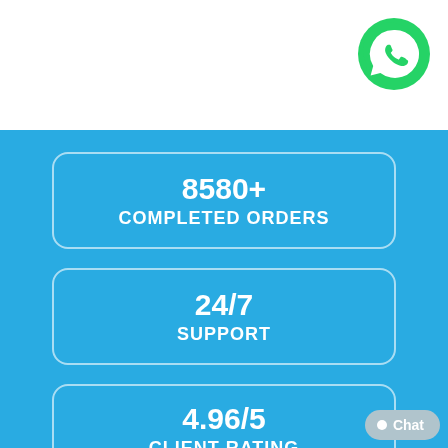[Figure (logo): WhatsApp green phone icon in top right corner]
8580+
COMPLETED ORDERS
24/7
SUPPORT
4.96/5
CLIENT RATING